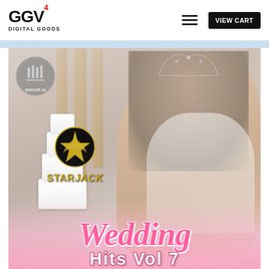GGV4 DIGITAL GOODS — VIEW CART
[Figure (photo): Screenshot of a digital goods website (GGV4 Digital Goods) showing a product page for 'StarJack Wedding Hits Vol 7'. Features a woman in a wedding dress and tiara with a wedding cake, StarJack logo, mixinit.io badge, and stylized 'Wedding Hits Vol 7' text overlay.]